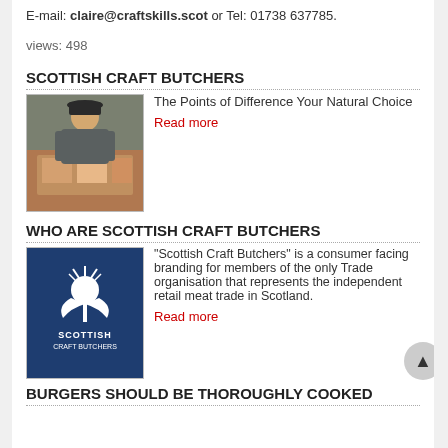E-mail: claire@craftskills.scot or Tel: 01738 637785.
views: 498
SCOTTISH CRAFT BUTCHERS
[Figure (photo): Photo of a butcher in an apron and hat standing behind a meat display counter]
The Points of Difference Your Natural Choice
Read more
WHO ARE SCOTTISH CRAFT BUTCHERS
[Figure (logo): Scottish Craft Butchers logo — white thistle on dark blue background with text SCOTTISH CRAFT BUTCHERS]
"Scottish Craft Butchers" is a consumer facing branding for members of the only Trade organisation that represents the independent retail meat trade in Scotland.
Read more
BURGERS SHOULD BE THOROUGHLY COOKED